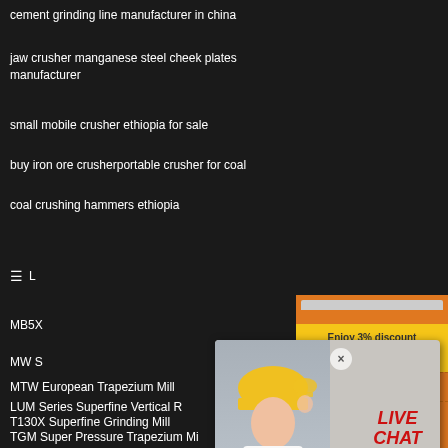cement grinding line manufacturer in china
jaw crusher manganese steel cheek plates manufacturer
small mobile crusher ethiopia for sale
buy iron ore crusherportable crusher for coal
coal crushing hammers ethiopia
MB5X
MW S
MTW European Trapezium Mill
LUM Series Superfine Vertical R
T130X Superfine Grinding Mill
TGM Super Pressure Trapezium Mi
[Figure (screenshot): Live chat popup with person in yellow hard hat, LIVE CHAT heading in red, 'Click for a Free Consultation' text, Chat now and Chat later buttons]
[Figure (screenshot): Orange sidebar with crusher machinery images, Enjoy 3% discount, Click to Chat, Enquiry section, and limingjlmofen@sina.com email]
Enjoy 3% discount
Click to Chat
Enquiry
limingjlmofen@sina.com